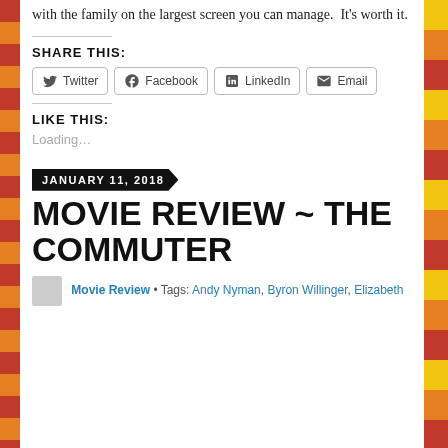with the family on the largest screen you can manage.  It's worth it.
SHARE THIS:
Twitter  Facebook  LinkedIn  Email
LIKE THIS:
Loading...
JANUARY 11, 2018
MOVIE REVIEW ~ THE COMMUTER
Movie Review • Tags: Andy Nyman, Byron Willinger, Elizabeth